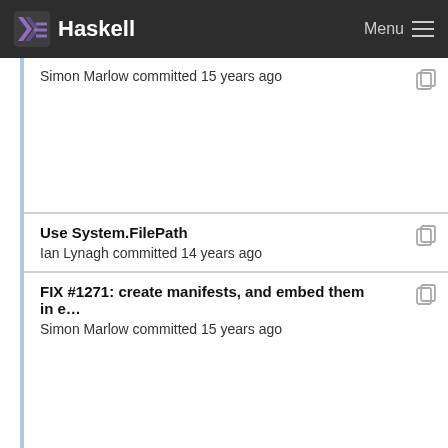Haskell  Menu
Simon Marlow committed 15 years ago
Use System.FilePath
Ian Lynagh committed 14 years ago
FIX #1271: create manifests, and embed them in e…
Simon Marlow committed 15 years ago
Extend API for compiling to and from Core